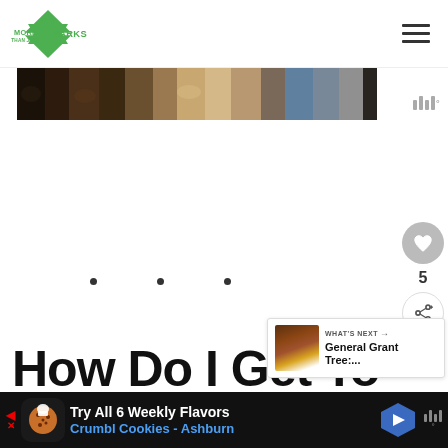More Than Just Parks
[Figure (photo): Cropped photo showing lower halves of people standing in a row, various jeans and pants]
[Figure (screenshot): Social media interaction panel with heart/like button showing count of 5 and share button]
[Figure (screenshot): What's Next banner showing General Grant Tree article thumbnail and title]
How Do I Get To
[Figure (infographic): Advertisement bar: Try All 6 Weekly Flavors Crumbl Cookies - Ashburn with navigation arrow badge]